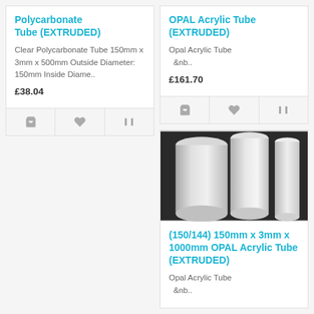Polycarbonate Tube (EXTRUDED)
Clear Polycarbonate Tube 150mm x 3mm x 500mm Outside Diameter: 150mm Inside Diame..
£38.04
OPAL Acrylic Tube (EXTRUDED)
Opal Acrylic Tube   &nb..
£161.70
[Figure (photo): Photo of white opal acrylic tubes, cylindrical rods shown at an angle against a dark background]
(150/144) 150mm x 3mm x 1000mm OPAL Acrylic Tube (EXTRUDED)
Opal Acrylic Tube   &nb..